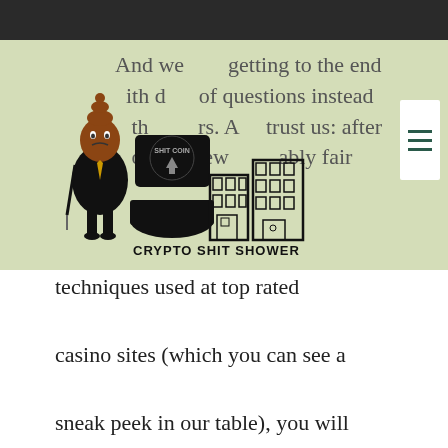[Figure (logo): Crypto Shit Shower logo: cartoon poop character in suit with toilet flushing a coin labeled SHIT COIN, with building icons. Text reads CRYPTO SHIT SHOWER.]
And we getting to the end with d of questions instead th rs. A trust us: after oday's ew ably fair techniques used at top rated casino sites (which you can see a sneak peek in our table), you will indeed have dozens answers, bitstarz 18. Not only have we investigated it, but the best bitcoin casino operators promise